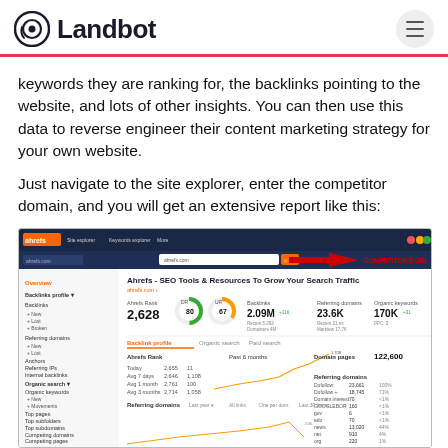Landbot
keywords they are ranking for, the backlinks pointing to the website, and lots of other insights. You can then use this data to reverse engineer their content marketing strategy for your own website.
Just navigate to the site explorer, enter the competitor domain, and you will get an extensive report like this:
[Figure (screenshot): Screenshot of Ahrefs SEO Tools dashboard showing site explorer results for ahrefs.com with metrics including Ahrefs Rank 2,628, DR 80, UR 67, Backlinks 2.09M, Referring domains 23.6K, Organic keywords 170K, Organic traffic 481K, Traffic value $1.1M. A red arrow points to the URL input field labeled COMPETITOR'S URL.]